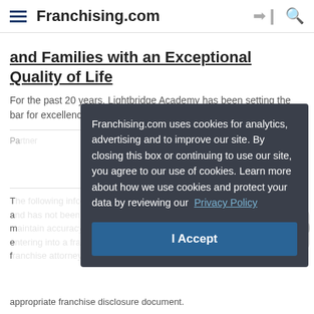Franchising.com
and Families with an Exceptional Quality of Life
For the past 20 years, Lightbridge Academy has been setting the bar for excellence in the child care industry.
Franchising.com uses cookies for analytics, advertising and to improve our site. By closing this box or continuing to use our site, you agree to our use of cookies. Learn more about how we use cookies and protect your data by reviewing our Privacy Policy
I Accept
appropriate franchise disclosure document.